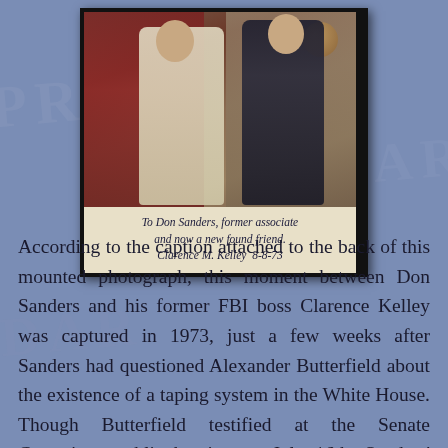[Figure (photo): A mounted photograph of two men standing together, with a handwritten inscription at the bottom reading: 'To Don Sanders, former associate and now a new found friend. Clarence M. Kelley 8-8-73']
According to the caption attached to the back of this mounted photograph, this moment between Don Sanders and his former FBI boss Clarence Kelley was captured in 1973, just a few weeks after Sanders had questioned Alexander Butterfield about the existence of a taping system in the White House. Though Butterfield testified at the Senate Committee public hearing on July 16th, Sanders' role was not immediately made